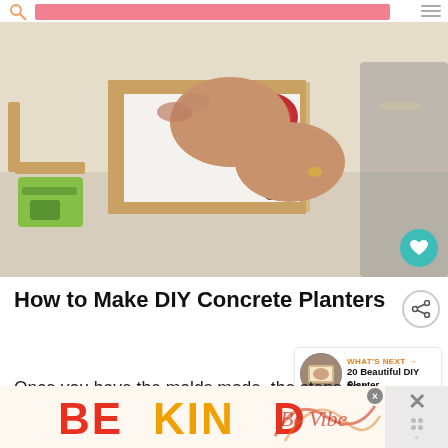[Figure (photo): Hands assembling a wooden planter mold box using a screwdriver/drill tool, with green power tools visible on the left and wooden pieces on a white surface.]
How to Make DIY Concrete Planters
Once you have the molds made, the steps for cr...
[Figure (illustration): BE KIND advertisement banner with colorful lettering in red, orange, and decorative script style. An X close button is visible on the right side.]